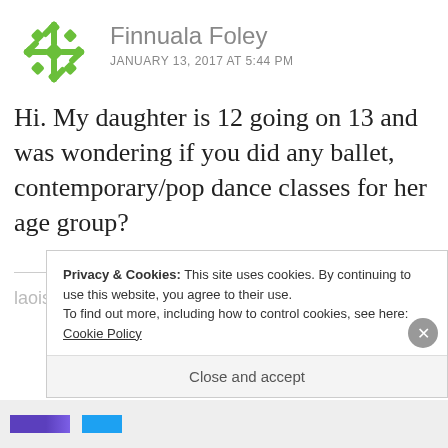[Figure (illustration): Green snowflake/geometric avatar icon for user Finnuala Foley]
Finnuala Foley
JANUARY 13, 2017 AT 5:44 PM
Hi. My daughter is 12 going on 13 and was wondering if you did any ballet, contemporary/pop dance classes for her age group?
Privacy & Cookies: This site uses cookies. By continuing to use this website, you agree to their use.
To find out more, including how to control cookies, see here: Cookie Policy
Close and accept